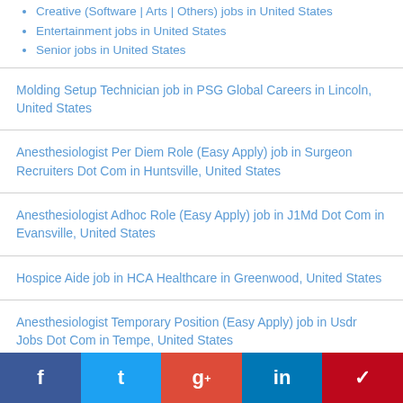Creative (Software | Arts | Others) jobs in United States
Entertainment jobs in United States
Senior jobs in United States
Molding Setup Technician job in PSG Global Careers in Lincoln, United States
Anesthesiologist Per Diem Role (Easy Apply) job in Surgeon Recruiters Dot Com in Huntsville, United States
Anesthesiologist Adhoc Role (Easy Apply) job in J1Md Dot Com in Evansville, United States
Hospice Aide job in HCA Healthcare in Greenwood, United States
Anesthesiologist Temporary Position (Easy Apply) job in Usdr Jobs Dot Com in Tempe, United States
f  t  g+  in  p